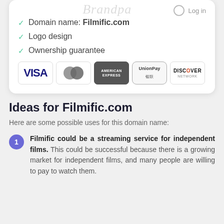Domain name: Filmific.com
Logo design
Ownership guarantee
[Figure (infographic): Payment method logos: VISA, Mastercard, American Express, UnionPay, Discover Network]
Ideas for Filmific.com
Here are some possible uses for this domain name:
Filmific could be a streaming service for independent films. This could be successful because there is a growing market for independent films, and many people are willing to pay to watch them.